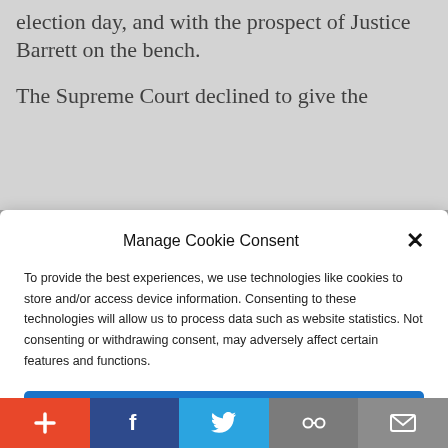election day, and with the prospect of Justice Barrett on the bench.
The Supreme Court declined to give the
Manage Cookie Consent
To provide the best experiences, we use technologies like cookies to store and/or access device information. Consenting to these technologies will allow us to process data such as website statistics. Not consenting or withdrawing consent, may adversely affect certain features and functions.
Accept
Cookie Policy  Privacy Policy
applied for a stay. But I reluctantly conclude that there is